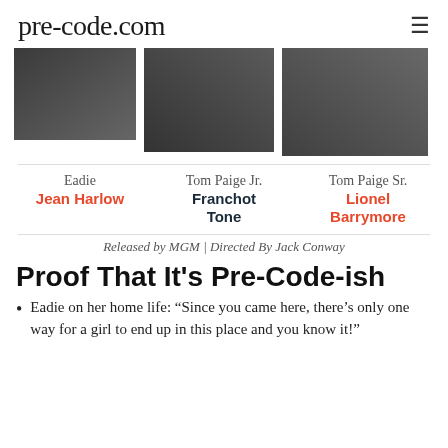pre-code.com
[Figure (photo): Three black and white film stills showing scenes from a movie]
Eadie
Jean Harlow
Tom Paige Jr.
Franchot Tone
Tom Paige Sr.
Lionel Barrymore
Released by MGM | Directed By Jack Conway
Proof That It's Pre-Code-ish
Eadie on her home life: “Since you came here, there’s only one way for a girl to end up in this place and you know it!”